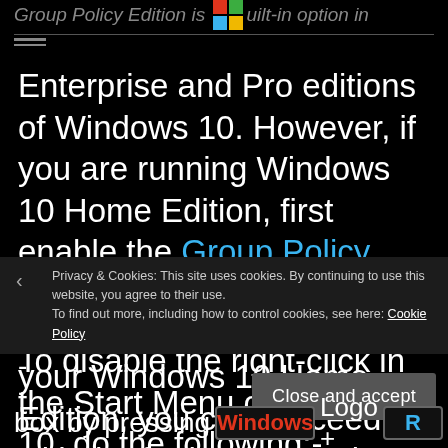Group Policy Edition is a built-in option in
Enterprise and Pro editions of Windows 10. However, if you are running Windows 10 Home Edition, first enable the Group Policy Editor. After enabling the Group Policy Editor is on your Windows 10 Home Edition, you can proceed with the further instructions.
To disable the right-click in the Start Menu of Windows 10, do the following:-
Privacy & Cookies: This site uses cookies. By continuing to use this website, you agree to their use.
To find out more, including how to control cookies, see here: Cookie Policy
-
box by pressing Windows Logo + R keys